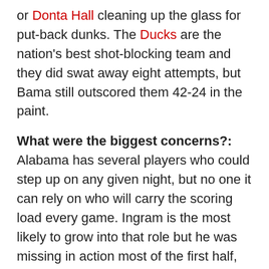or Donta Hall cleaning up the glass for put-back dunks. The Ducks are the nation's best shot-blocking team and they did swat away eight attempts, but Bama still outscored them 42-24 in the paint.
What were the biggest concerns?: Alabama has several players who could step up on any given night, but no one it can rely on who will carry the scoring load every game. Ingram is the most likely to grow into that role but he was missing in action most of the first half, didn't call his own number as much as he probably should have and finished with just one assist. Fellow freshman Braxton Key got humbled, finishing with five turnovers against just six points. Riley Norris surprisingly did not start even with Nick King (illness) left behind in Tuscaloosa and was held scoreless despite playing a team-high 29 minutes (although he did manage a season-high seven rebounds). The Tide fell behind